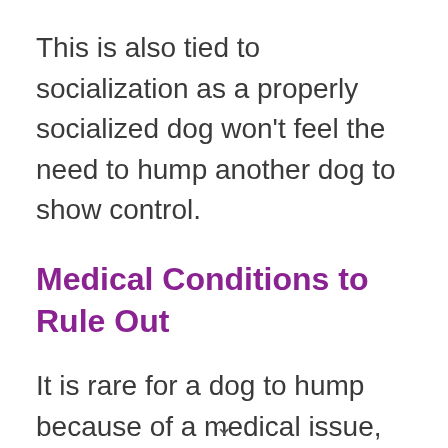This is also tied to socialization as a properly socialized dog won't feel the need to hump another dog to show control.
Medical Conditions to Rule Out
It is rare for a dog to hump because of a medical issue, but it is possible.